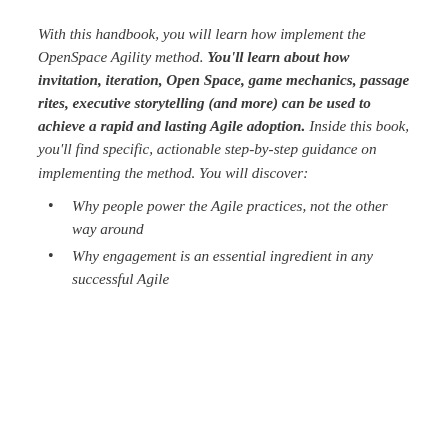With this handbook, you will learn how implement the OpenSpace Agility method. You'll learn about how invitation, iteration, Open Space, game mechanics, passage rites, executive storytelling (and more) can be used to achieve a rapid and lasting Agile adoption. Inside this book, you'll find specific, actionable step-by-step guidance on implementing the method. You will discover:
Why people power the Agile practices, not the other way around
Why engagement is an essential ingredient in any successful Agile adoption